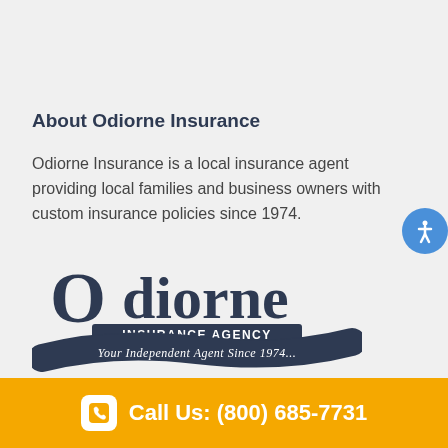About Odiorne Insurance
Odiorne Insurance is a local insurance agent providing local families and business owners with custom insurance policies since 1974.
[Figure (logo): Odiorne Insurance Agency logo with text 'Your Independent Agent Since 1974...']
Call Us: (800) 685-7731